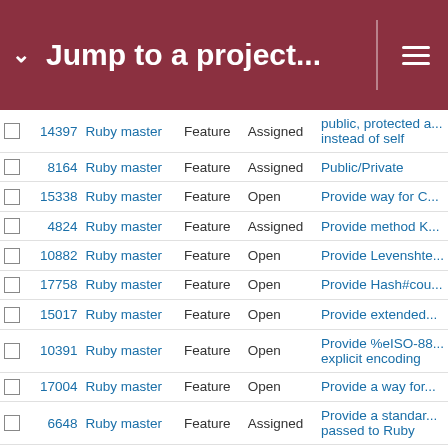Jump to a project...
|  | # | Project | Type | Status | Title |
| --- | --- | --- | --- | --- | --- |
|  | 14397 | Ruby master | Feature | Assigned | public, protected a... instead of self |
|  | 8164 | Ruby master | Feature | Assigned | Public/Private |
|  | 15338 | Ruby master | Feature | Open | Provide way for C... |
|  | 4824 | Ruby master | Feature | Assigned | Provide method K... |
|  | 10882 | Ruby master | Feature | Open | Provide Levenshte... |
|  | 17758 | Ruby master | Feature | Open | Provide Hash#cou... |
|  | 15017 | Ruby master | Feature | Open | Provide extended... |
|  | 10391 | Ruby master | Feature | Open | Provide %eISO-88... explicit encoding |
|  | 17004 | Ruby master | Feature | Open | Provide a way for... |
|  | 6648 | Ruby master | Feature | Assigned | Provide a standar... passed to Ruby |
|  | 14938 | Ruby master | Feature | Open | Provide API to get... |
|  | 16001 | Ruby master | Feature | Open | Provide an alias to Kernel#caller(1,1) |
|  | 15811 | Ruby master | Feature | Open | Propsing new met... relatively |
|  | 18462 | Ruby master | Feature | Open | Proposal to merge... |